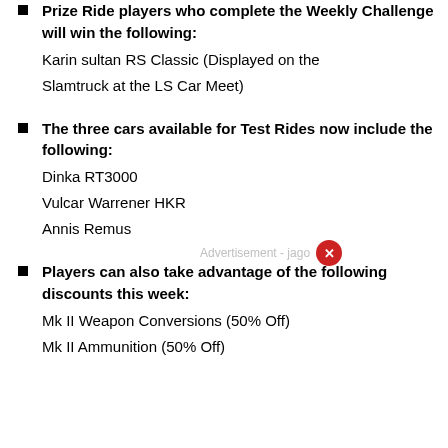Prize Ride players who complete the Weekly Challenge will win the following: Karin sultan RS Classic (Displayed on the Slamtruck at the LS Car Meet)
The three cars available for Test Rides now include the following: Dinka RT3000, Vulcar Warrener HKR, Annis Remus
Players can also take advantage of the following discounts this week: Mk II Weapon Conversions (50% Off), Mk II Ammunition (50% Off)